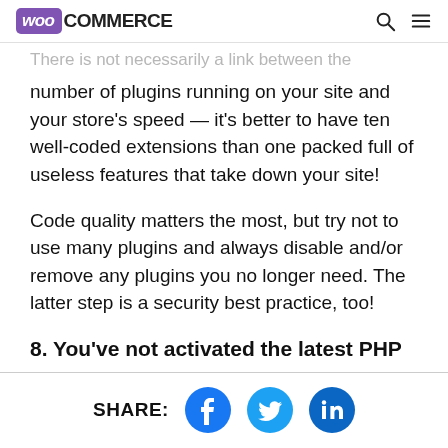WooCommerce
There is not necessarily a link between the number of plugins running on your site and your store's speed — it's better to have ten well-coded extensions than one packed full of useless features that take down your site!
Code quality matters the most, but try not to use many plugins and always disable and/or remove any plugins you no longer need. The latter step is a security best practice, too!
8. You've not activated the latest PHP
SHARE: